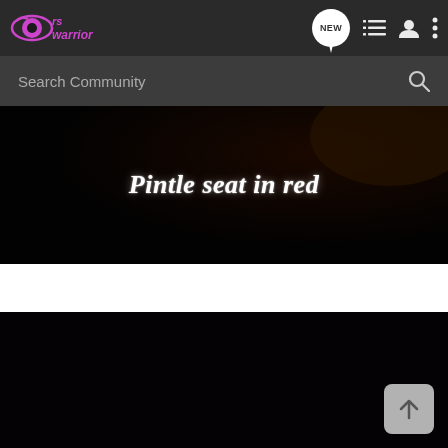RS Warrior community forum navigation bar with logo, NEW button, list icon, user icon, and more options icon
Search Community
[Figure (photo): Dark background image with cursive italic white text reading 'Pintle seat in red']
[Figure (photo): Nearly all-black image panel, second photo in a gallery or post, with a scroll-to-top arrow button overlay]